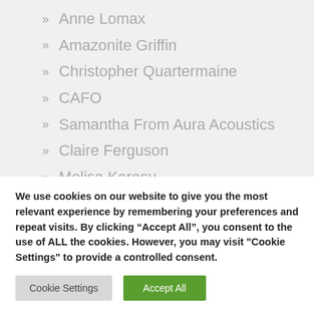Anne Lomax
Amazonite Griffin
Christopher Quartermaine
CAFO
Samantha From Aura Acoustics
Claire Ferguson
Melisa Karasu
Stephen MacAllan
Helen Wilson
Robert Hook
We use cookies on our website to give you the most relevant experience by remembering your preferences and repeat visits. By clicking “Accept All”, you consent to the use of ALL the cookies. However, you may visit "Cookie Settings" to provide a controlled consent.
Cookie Settings
Accept All